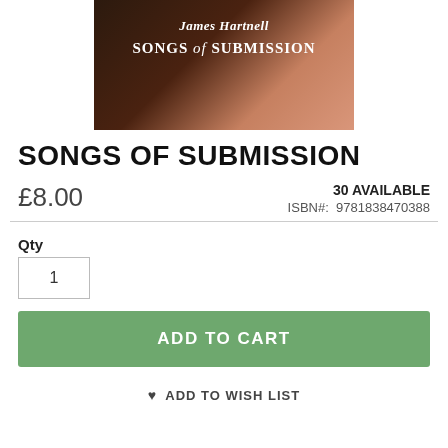[Figure (illustration): Book cover for 'Songs of Submission' by James Hartnell, dark brown and skin-tone background with author name and title text in white serif font]
SONGS OF SUBMISSION
£8.00
30 AVAILABLE
ISBN#:  9781838470388
Qty
1
ADD TO CART
♥ ADD TO WISH LIST